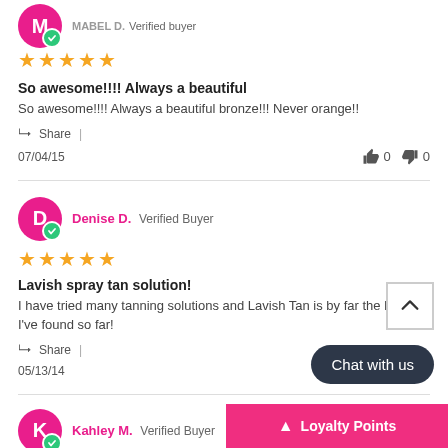So awesome!!!! Always a beautiful
So awesome!!!! Always a beautiful bronze!!! Never orange!!
Share |
07/04/15   👍 0   👎 0
Denise D.  Verified Buyer
Lavish spray tan solution!
I have tried many tanning solutions and Lavish Tan is by far the best I've found so far!
Share |
05/13/14
Kahley M.  Verified Buyer
Chat with us
Loyalty Points